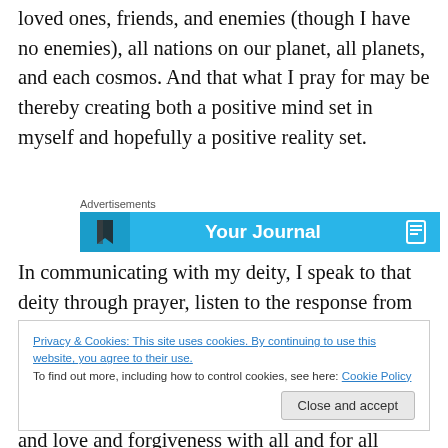loved ones, friends, and enemies (though I have no enemies), all nations on our planet, all planets, and each cosmos. And that what I pray for may be thereby creating both a positive mind set in myself and hopefully a positive reality set.
[Figure (screenshot): Advertisement banner showing 'Your Journal' text on a blue background with a book icon]
In communicating with my deity, I speak to that deity through prayer, listen to the response from that being
Privacy & Cookies: This site uses cookies. By continuing to use this website, you agree to their use. To find out more, including how to control cookies, see here: Cookie Policy
and love and forgiveness with all and for all